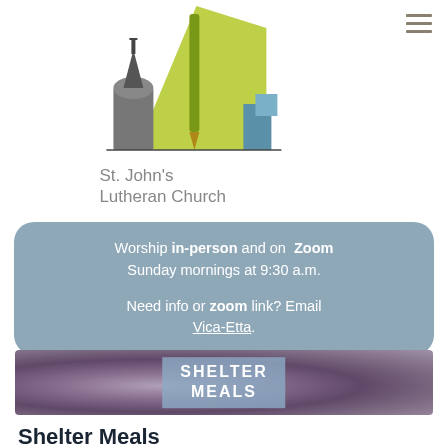[Figure (logo): St. John's Lutheran Church logo with stylized church/building graphic in yellow-green and blue-grey tones, with church name below]
Worship in-person and on Zoom Sunday mornings at 9:30 a.m.

Need info or zoom link? Email Vica-Etta.
[Figure (photo): Blurred purple/mauve background photo with text overlay reading SHELTER MEALS in a light blue-grey box]
Shelter Meals